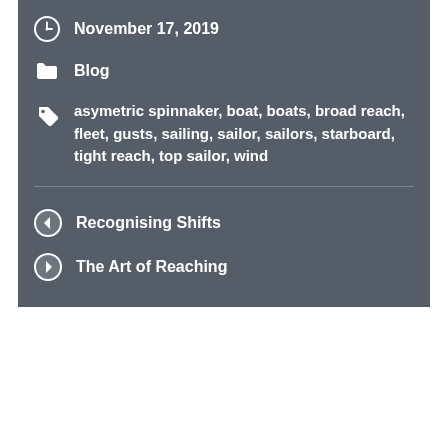November 17, 2019
Blog
asymetric spinnaker, boat, boats, broad reach, fleet, gusts, sailing, sailor, sailors, starboard, tight reach, top sailor, wind
Recognising Shifts
The Art of Reaching
You must log in to post a comment.
UP ↑